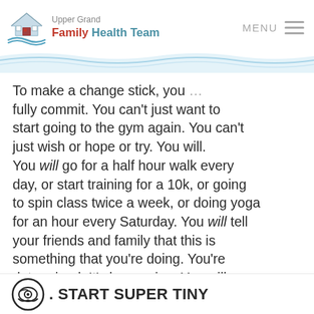Upper Grand Family Health Team | MENU
To make a change stick, you … fully commit. You can't just want to start going to the gym again. You can't just wish or hope or try. You will. You will go for a half hour walk every day, or start training for a 10k, or going to spin class twice a week, or doing yoga for an hour every Saturday. You will tell your friends and family that this is something that you're doing. You're determined. It's happening. You will.
. START SUPER TINY